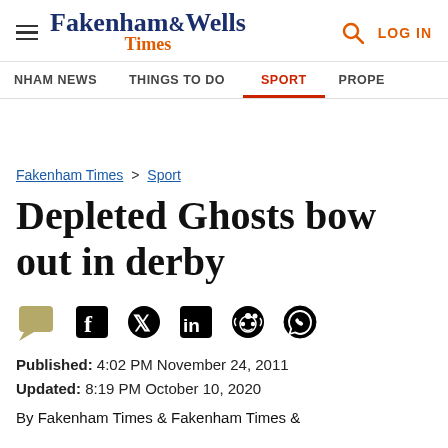Fakenham & Wells Times — LOG IN
NHAM NEWS | THINGS TO DO | SPORT | PROPE
Fakenham Times > Sport
Depleted Ghosts bow out in derby
[Figure (other): Social share icons: comment, Facebook, Twitter, LinkedIn, Reddit, WhatsApp]
Published: 4:02 PM November 24, 2011
Updated: 8:19 PM October 10, 2020
By Fakenham Times & Fakenham Times &